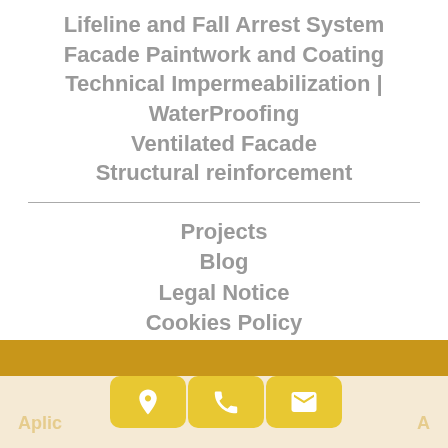Lifeline and Fall Arrest System
Facade Paintwork and Coating
Technical Impermeabilization | WaterProofing
Ventilated Facade
Structural reinforcement
Projects
Blog
Legal Notice
Cookies Policy
Privacy Policy
Frequently Asked Questions
[Figure (other): Footer bar with golden/yellow background and bottom navigation icons: location pin, phone, and email buttons. Partial text 'Aplic' and 'Ap...o' visible on sides.]